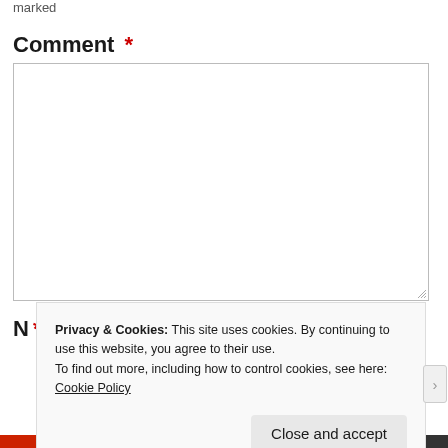marked
Comment *
N *
Privacy & Cookies: This site uses cookies. By continuing to use this website, you agree to their use.
To find out more, including how to control cookies, see here:
Cookie Policy
Close and accept